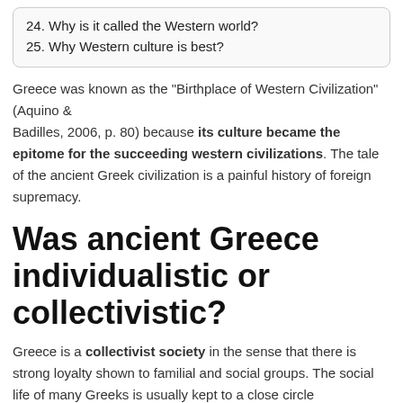24. Why is it called the Western world?
25. Why Western culture is best?
Greece was known as the "Birthplace of Western Civilization" (Aquino & Badilles, 2006, p. 80) because its culture became the epitome for the succeeding western civilizations. The tale of the ancient Greek civilization is a painful history of foreign supremacy.
Was ancient Greece individualistic or collectivistic?
Greece is a collectivist society in the sense that there is strong loyalty shown to familial and social groups. The social life of many Greeks is usually kept to a close circle